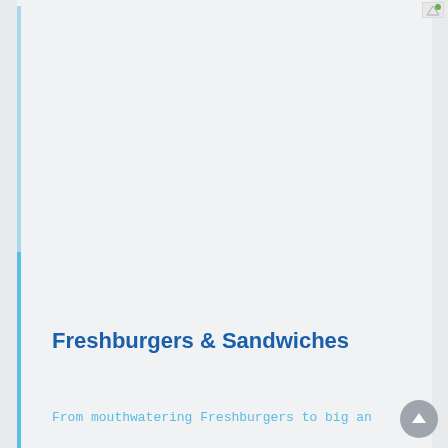[Figure (logo): Small logo image in top right corner]
Freshburgers & Sandwiches
From mouthwatering Freshburgers to big an